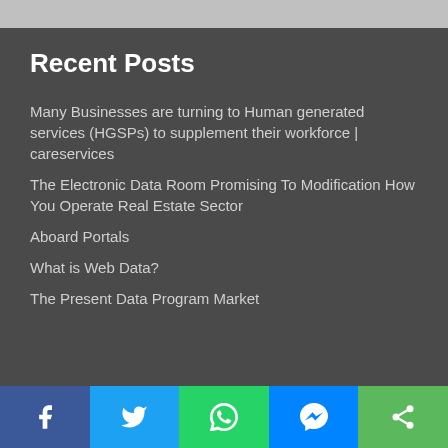Recent Posts
Many Businesses are turning to Human generated services (HGSPs) to supplement their workforce | careservices
The Electronic Data Room Promising To Modification How You Operate Real Estate Sector
Aboard Portals
What is Web Data?
The Present Data Program Market